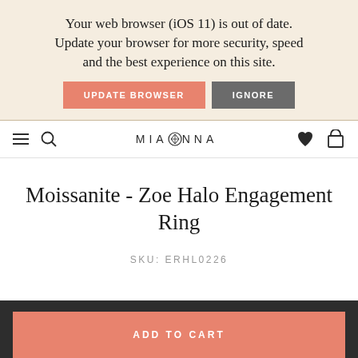Your web browser (iOS 11) is out of date. Update your browser for more security, speed and the best experience on this site.
UPDATE BROWSER   IGNORE
MIAD◎NNA
Moissanite - Zoe Halo Engagement Ring
SKU: ERHL0226
ADD TO CART